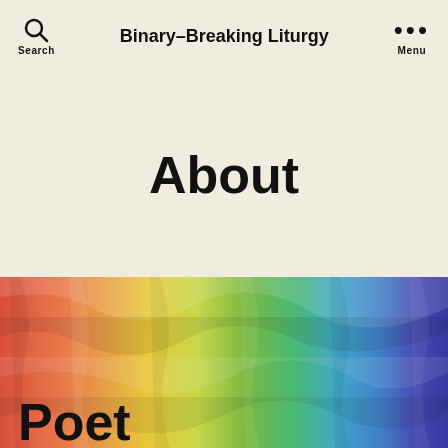Binary-Breaking Liturgy | Search | Menu
About
[Figure (photo): Rainbow-colored crumpled paper texture spanning full width, with text 'Poet' partially visible at the bottom left]
Poet